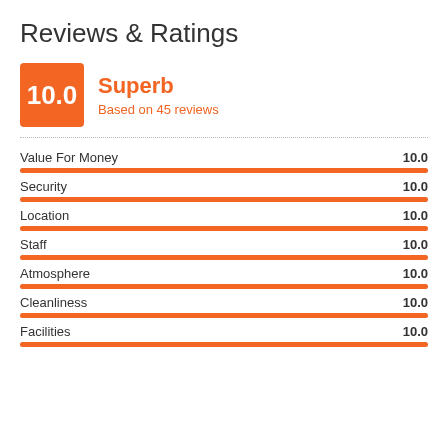Reviews & Ratings
[Figure (infographic): Score badge showing 10.0 Superb rating based on 45 reviews]
Value For Money 10.0
Security 10.0
Location 10.0
Staff 10.0
Atmosphere 10.0
Cleanliness 10.0
Facilities 10.0